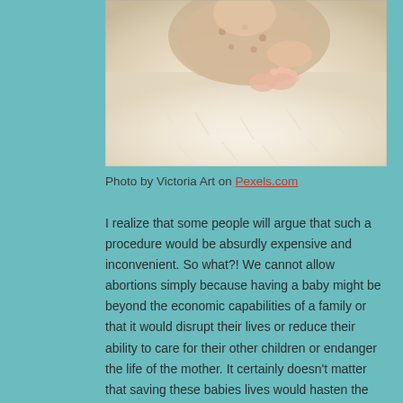[Figure (photo): Close-up photo of a newborn baby in a cream/beige fuzzy blanket, wearing a spotted outfit, with tiny pink feet visible]
Photo by Victoria Art on Pexels.com
I realize that some people will argue that such a procedure would be absurdly expensive and inconvenient. So what?! We cannot allow abortions simply because having a baby might be beyond the economic capabilities of a family or that it would disrupt their lives or reduce their ability to care for their other children or endanger the life of the mother. It certainly doesn't matter that saving these babies lives would hasten the destruction of the ecosystem all